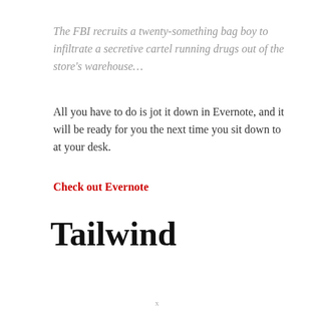The FBI recruits a twenty-something bag boy to infiltrate a secretive cartel running drugs out of the store's warehouse…
All you have to do is jot it down in Evernote, and it will be ready for you the next time you sit down to at your desk.
Check out Evernote
Tailwind
x